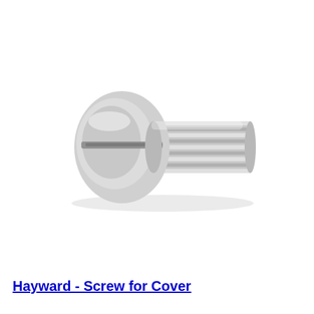[Figure (photo): A silver/chrome flathead slotted machine screw with a countersunk oval head on the left and threaded shank extending to the right, photographed on a white background.]
Hayward - Screw for Cover